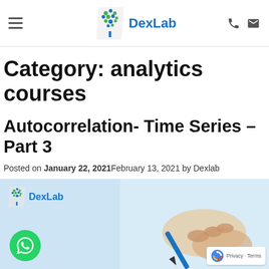DexLab
Category: analytics courses
Autocorrelation- Time Series – Part 3
Posted on January 22, 2021February 13, 2021 by Dexlab
[Figure (photo): Blog post thumbnail showing a hand writing with a blue pen, with DexLab logo overlay and WhatsApp chat button]